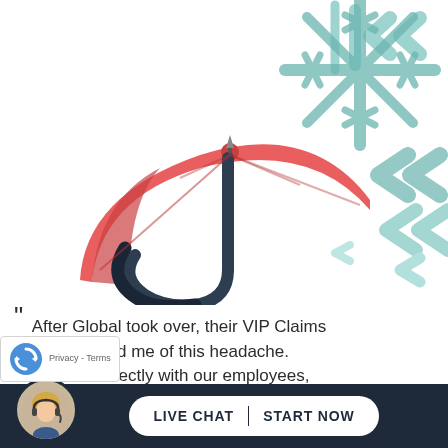[Figure (illustration): Red umbrella with dark handle tilted to the right, with teal/grey snowflake or wind arrows pattern on upper right, representing insurance protection against weather or claims.]
“ After Global took over, their VIP Claims rtment relieved me of this headache. staff works directly with our employees, th i ffi
[Figure (other): reCAPTCHA badge with rotating arrows icon and Privacy - Terms text]
[Figure (other): Live chat button with avatar of blonde woman with headset. Button reads LIVE CHAT | START NOW in dark navy bar at bottom.]